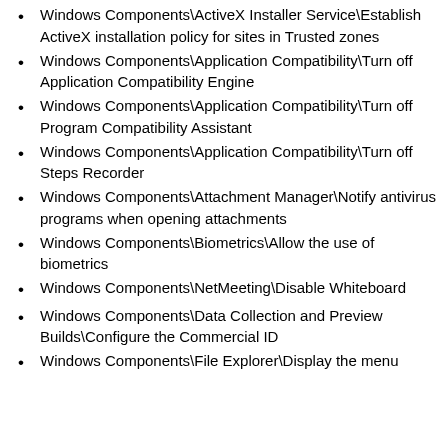Windows Components\ActiveX Installer Service\Establish ActiveX installation policy for sites in Trusted zones
Windows Components\Application Compatibility\Turn off Application Compatibility Engine
Windows Components\Application Compatibility\Turn off Program Compatibility Assistant
Windows Components\Application Compatibility\Turn off Steps Recorder
Windows Components\Attachment Manager\Notify antivirus programs when opening attachments
Windows Components\Biometrics\Allow the use of biometrics
Windows Components\NetMeeting\Disable Whiteboard
Windows Components\Data Collection and Preview Builds\Configure the Commercial ID
Windows Components\File Explorer\Display the menu